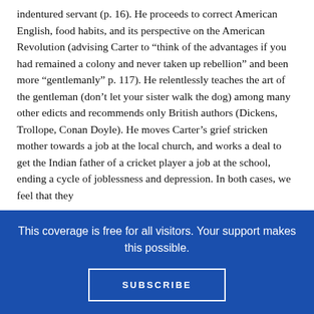indentured servant (p. 16). He proceeds to correct American English, food habits, and its perspective on the American Revolution (advising Carter to “think of the advantages if you had remained a colony and never taken up rebellion” and been more “gentlemanly” p. 117). He relentlessly teaches the art of the gentleman (don’t let your sister walk the dog) among many other edicts and recommends only British authors (Dickens, Trollope, Conan Doyle). He moves Carter’s grief stricken mother towards a job at the local church, and works a deal to get the Indian father of a cricket player a job at the school, ending a cycle of joblessness and depression. In both cases, we feel that they
This coverage is free for all visitors. Your support makes this possible.
SUBSCRIBE